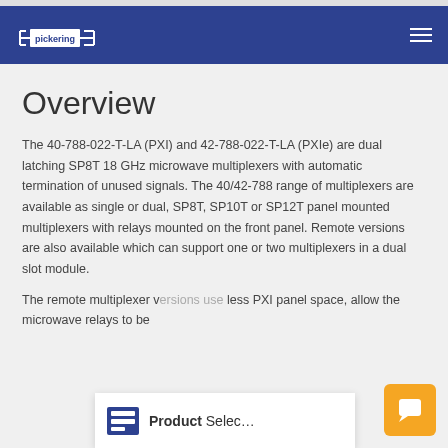Pickering navigation bar
Overview
The 40-788-022-T-LA (PXI) and 42-788-022-T-LA (PXIe) are dual latching SP8T 18 GHz microwave multiplexers with automatic termination of unused signals. The 40/42-788 range of multiplexers are available as single or dual, SP8T, SP10T or SP12T panel mounted multiplexers with relays mounted on the front panel. Remote versions are also available which can support one or two multiplexers in a dual slot module.
The remote multiplexer versions use less PXI panel space, allow the microwave relays to be